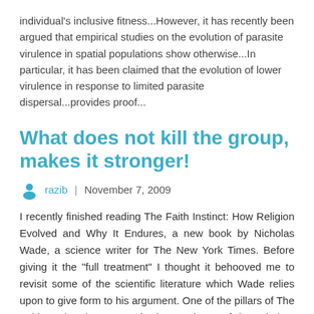individual's inclusive fitness...However, it has recently been argued that empirical studies on the evolution of parasite virulence in spatial populations show otherwise...In particular, it has been claimed that the evolution of lower virulence in response to limited parasite dispersal...provides proof...
What does not kill the group, makes it stronger!
razib | November 7, 2009
I recently finished reading The Faith Instinct: How Religion Evolved and Why It Endures, a new book by Nicholas Wade, a science writer for The New York Times. Before giving it the "full treatment" I thought it behooved me to revisit some of the scientific literature which Wade relies upon to give form to his argument. One of the pillars of The Faith Instinct is group selection, and one of the scholars who Wade specifically cites is the economist Samuel Bowles. Bowles was an author on a paper I reviewed earlier this week, on the empirical assessment of the extent of heritability of wealth...